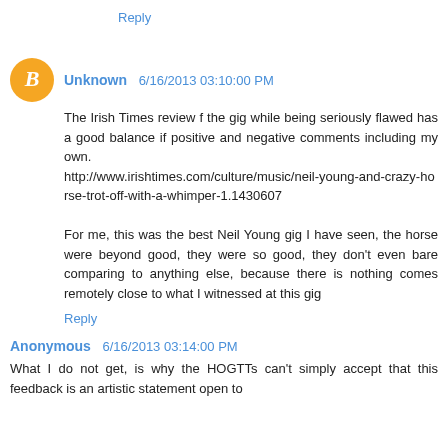Reply
Unknown 6/16/2013 03:10:00 PM
The Irish Times review f the gig while being seriously flawed has a good balance if positive and negative comments including my own. http://www.irishtimes.com/culture/music/neil-young-and-crazy-horse-trot-off-with-a-whimper-1.1430607

For me, this was the best Neil Young gig I have seen, the horse were beyond good, they were so good, they don't even bare comparing to anything else, because there is nothing comes remotely close to what I witnessed at this gig
Reply
Anonymous 6/16/2013 03:14:00 PM
What I do not get, is why the HOGTTs can't simply accept that this feedback is an artistic statement open to